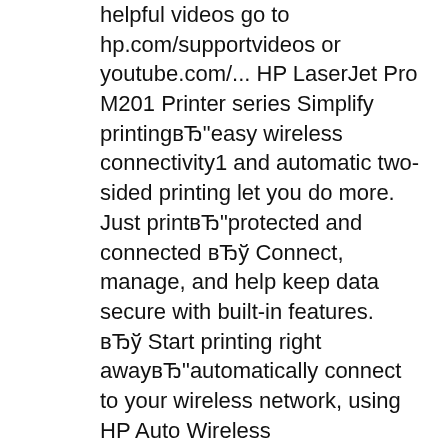helpful videos go to hp.com/supportvideos or youtube.com/... HP LaserJet Pro M201 Printer series Simplify printingвЂ"easy wireless connectivity1 and automatic two-sided printing let you do more. Just printвЂ"protected and connected вЂў Connect, manage, and help keep data secure with built-in features. вЂў Start printing right awayвЂ"automatically connect to your wireless network, using HP Auto Wireless
HP Laserjet M201 Troubleshooting Manual JavaScript seems to be disabled in your browser. For the best experience on our site, be sure to turn on Javascript in your browser. Selection guide .